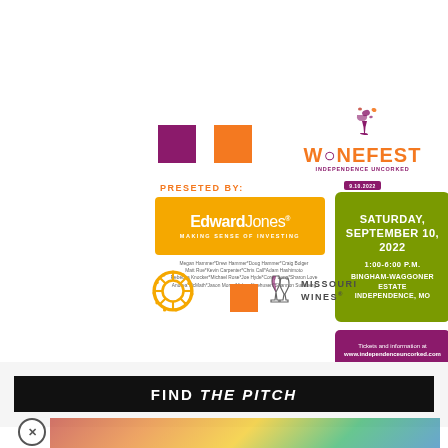[Figure (logo): WineFest Independence Uncorked logo with orange text and purple bar, dated 9.10.2022]
PRESETED BY:
[Figure (logo): Edward Jones - Making Sense of Investing logo on yellow/golden background]
Megan Hammer*Drew Hammer*Doug Hammer*Craig Bolger Matt Rue*Kevin Carpenter*Chris Call*Adam Hashimoto Rebecca Knocker*Michael Rose*Joe Hyde*Corey Long*Sharon Love Andrea McMath*Jason Moran*Adam Neehusen*Shannon Sundberg
[Figure (infographic): Green rounded rectangle box: SATURDAY, SEPTEMBER 10, 2022 / 1:00-6:00 P.M. / BINGHAM-WAGGONER ESTATE / INDEPENDENCE, MO]
[Figure (infographic): Purple rounded rectangle with tickets info: Tickets and information at www.independenceuncorked.com]
[Figure (logo): Rotary International wheel logo in orange]
[Figure (logo): Missouri Wines logo with wine glass icon]
FIND THE PITCH
[Figure (photo): Colorful illustrated advertisement image at bottom]